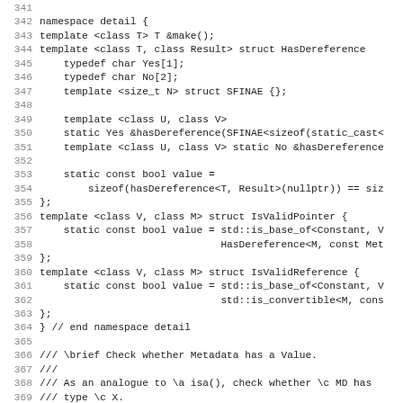C++ source code listing, lines 341-372, showing namespace detail with template structs HasDereference, IsValidPointer, IsValidReference, and inline hasa() function.